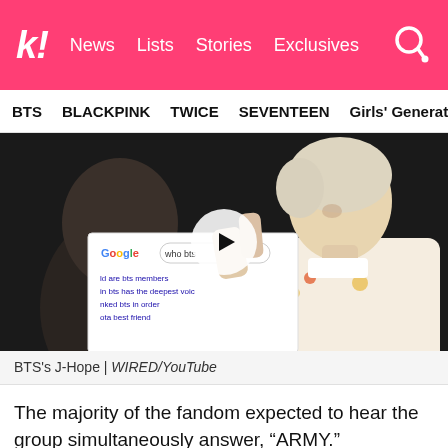k! News Lists Stories Exclusives
BTS   BLACKPINK   TWICE   SEVENTEEN   Girls' Generation
[Figure (photo): BTS's J-Hope holding a Google search results board during a WIRED/YouTube interview, with another person visible in the foreground. A play button overlay is visible in the center of the image.]
BTS's J-Hope | WIRED/YouTube
The majority of the fandom expected to hear the group simultaneously answer, “ARMY.” Previously, in an interview with Weverse